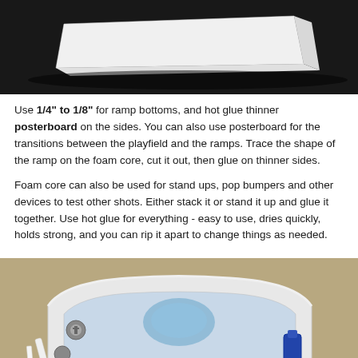[Figure (photo): Top portion of a white foam core sheet photographed against a dark/black background]
Use 1/4" to 1/8" for ramp bottoms, and hot glue thinner posterboard on the sides. You can also use posterboard for the transitions between the playfield and the ramps. Trace the shape of the ramp on the foam core, cut it out, then glue on thinner sides.
Foam core can also be used for stand ups, pop bumpers and other devices to test other shots. Either stack it or stand it up and glue it together. Use hot glue for everything - easy to use, dries quickly, holds strong, and you can rip it apart to change things as needed.
[Figure (photo): Photo of white foam core ramp structures with pinball machine components including pop bumpers visible, blue saucers or bumper caps visible inside the foam ramp enclosure]